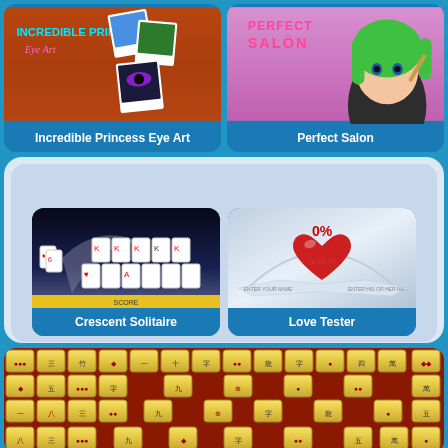[Figure (screenshot): Incredible Princess Eye Art game thumbnail - orange/brown background with polaroid photos showing eye makeup art]
Incredible Princess Eye Art
[Figure (screenshot): Perfect Salon game thumbnail - pink/purple background with 3D animated girl character with green hair]
Perfect Salon
[Figure (screenshot): Crescent Solitaire game thumbnail - dark night sky with playing cards laid out]
Crescent Solitaire
[Figure (screenshot): Love Tester game thumbnail - light blue background with red heart showing 0% and TEST IT label]
Love Tester
[Figure (screenshot): Mahjong game thumbnail - brown background with mahjong tiles arranged in pattern]